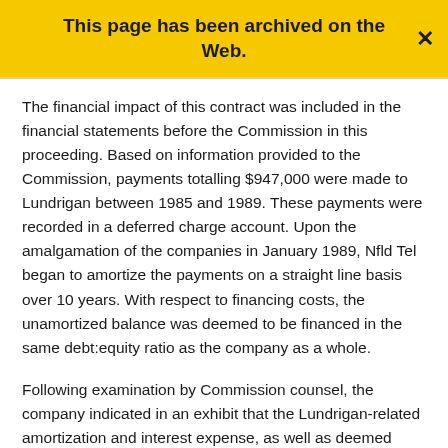This page has been archived on the Web.
The financial impact of this contract was included in the financial statements before the Commission in this proceeding. Based on information provided to the Commission, payments totalling $947,000 were made to Lundrigan between 1985 and 1989. These payments were recorded in a deferred charge account. Upon the amalgamation of the companies in January 1989, Nfld Tel began to amortize the payments on a straight line basis over 10 years. With respect to financing costs, the unamortized balance was deemed to be financed in the same debt:equity ratio as the company as a whole.
Following examination by Commission counsel, the company indicated in an exhibit that the Lundrigan-related amortization and interest expense, as well as deemed invested capital, were included in the calculation of projected ROE for 1990 and 1991, by mistake. Corrected